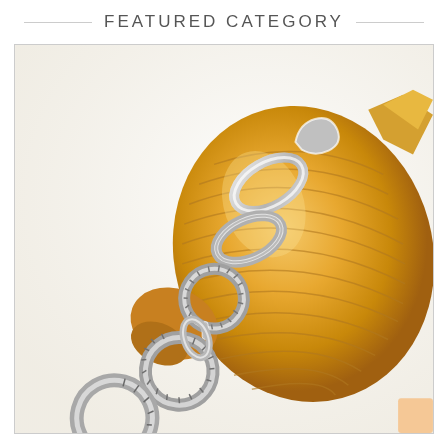FEATURED CATEGORY
[Figure (photo): Close-up product photo of a silver chain bracelet with large oval and circular textured links, draped over and around a large golden conch/spiral seashell, set against a white background. The bracelet features polished oval links and ridged circular connector links. A small coral/peach colored decorative element is visible in the bottom right corner.]